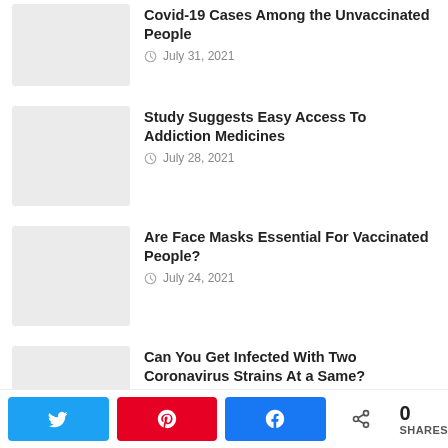Covid-19 Cases Among the Unvaccinated People
July 31, 2021
Study Suggests Easy Access To Addiction Medicines
July 28, 2021
Are Face Masks Essential For Vaccinated People?
July 24, 2021
Can You Get Infected With Two Coronavirus Strains At a Same?
July 19, 2021
WHO Acknowledges HIV as a Risk Factor For Covid-19
July 15, 2021
0 SHARES